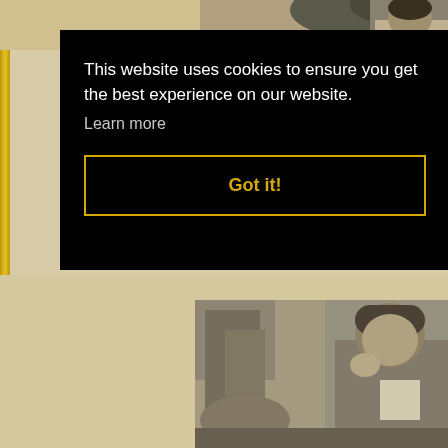[Figure (photo): Top portion of a black and white vintage photograph, partially visible at the top of the page, showing a person outdoors.]
This website uses cookies to ensure you get the best experience on our website.
Learn more
Got it!
[Figure (photo): Bottom portion of a black and white vintage photograph showing people, possibly at an outdoor event, with a man bending down visible on the right side.]